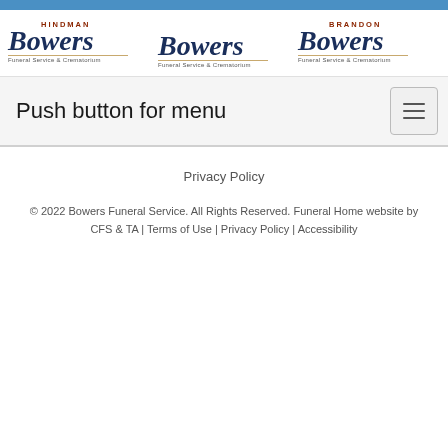[Figure (logo): Three Bowers Funeral Service & Crematorium logos side by side: Hindman Bowers, Bowers, and Brandon Bowers]
Push button for menu
Privacy Policy
© 2022 Bowers Funeral Service. All Rights Reserved. Funeral Home website by CFS & TA | Terms of Use | Privacy Policy | Accessibility